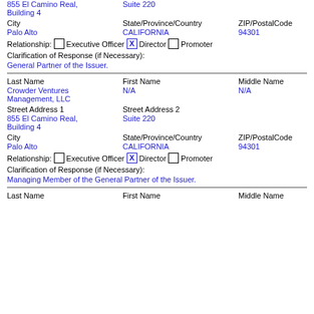Street Address 1 | Street Address 2
855 El Camino Real, Building 4 | Suite 220
City | State/Province/Country | ZIP/PostalCode
Palo Alto | CALIFORNIA | 94301
Relationship: [ ] Executive Officer [X] Director [ ] Promoter
Clarification of Response (if Necessary):
General Partner of the Issuer.
Last Name | First Name | Middle Name
Crowder Ventures Management, LLC | N/A | N/A
Street Address 1 | Street Address 2
855 El Camino Real, Building 4 | Suite 220
City | State/Province/Country | ZIP/PostalCode
Palo Alto | CALIFORNIA | 94301
Relationship: [ ] Executive Officer [X] Director [ ] Promoter
Clarification of Response (if Necessary):
Managing Member of the General Partner of the Issuer.
Last Name | First Name | Middle Name